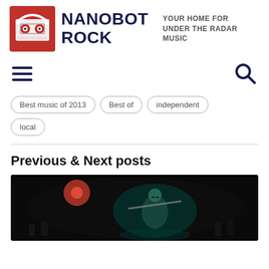NANOBOT ROCK — YOUR HOME FOR UNDER THE RADAR MUSIC
Best music of 2013
Best of
independent
local
Previous & Next posts
[Figure (photo): Concert photo of a musician playing flute on a dark stage with red and green stage lighting]